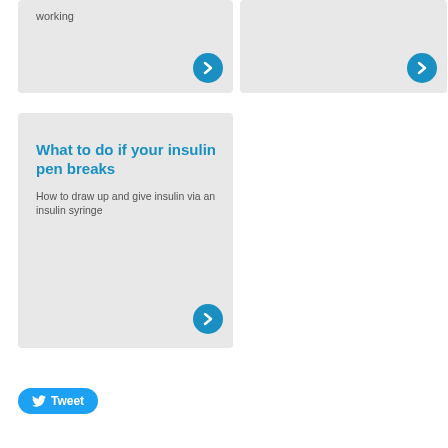[Figure (other): Gray card top-left with text 'working' and a blue arrow button]
[Figure (other): Gray card top-right with a blue arrow button]
What to do if your insulin pen breaks
How to draw up and give insulin via an insulin syringe
Tweet